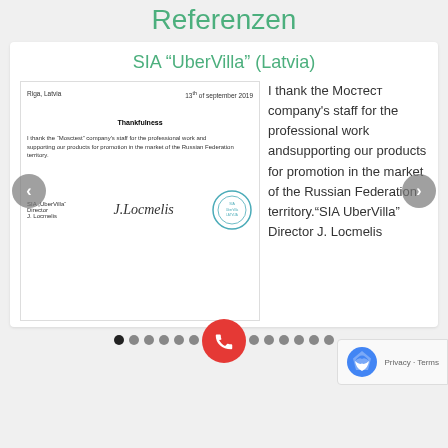Referenzen
SIA “UberVilla” (Latvia)
[Figure (photo): Scanned letter from SIA UberVilla, Latvia, dated 13th of September 2019, with company stamp and signature by Director J. Locmelis]
I thank the Мостест company’s staff for the professional work andsupporting our products for promotion in the market of the Russian Federation territory.“SIA UberVilla” Director J. Locmelis